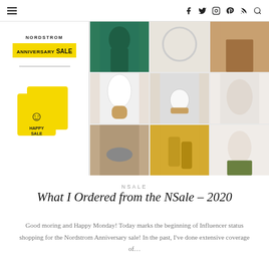Navigation bar with hamburger menu and social icons: Facebook, Twitter, Instagram, Pinterest, RSS, Search
[Figure (photo): Nordstrom Anniversary Sale promotional collage showing sale branding with yellow smiley bags on left, and product images including teal bodysuit, jeans, leopard skirt, sneakers, diffuser, slippers, flat shoes, beauty products, and white blouse on right]
NSALE
What I Ordered from the NSale – 2020
Good moring and Happy Monday! Today marks the beginning of Influencer status shopping for the Nordstrom Anniversary sale! In the past, I've done extensive coverage of…